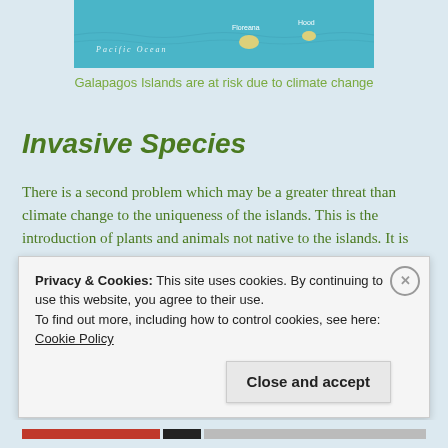[Figure (map): Map of Galapagos Islands showing Pacific Ocean with island labels Floreana and Hood on a teal/blue background]
Galapagos Islands are at risk due to climate change
Invasive Species
There is a second problem which may be a greater threat than climate change to the uniqueness of the islands. This is the introduction of plants and animals not native to the islands. It is believed there are now more than 1400 introduced species on the islands of
Privacy & Cookies: This site uses cookies. By continuing to use this website, you agree to their use.
To find out more, including how to control cookies, see here: Cookie Policy
Close and accept